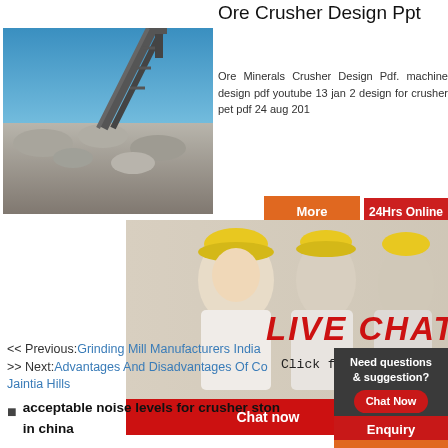Ore Crusher Design Ppt
[Figure (photo): Mining conveyor belt over pile of crushed rocks with blue sky background]
Ore Minerals Crusher Design Pdf. machine design pdf youtube 13 jan 2 design for crusher pet pdf 24 aug 201
[Figure (screenshot): Live chat popup overlay with workers in hard hats, LIVE CHAT text in red italic, 'Click for a Free Consultation' subtitle, Chat now and Chat later buttons, and a headset customer service woman on the right]
More
24Hrs Online
LIVE CHAT
Click for a Free Consultation
Chat now
Chat later
Need questions & suggestion?
Chat Now
Enquiry
limingjlmofen
<< Previous:Grinding Mill Manufacturers India
>> Next:Advantages And Disadvantages Of Co Jaintia Hills
acceptable noise levels for crusher ston in china